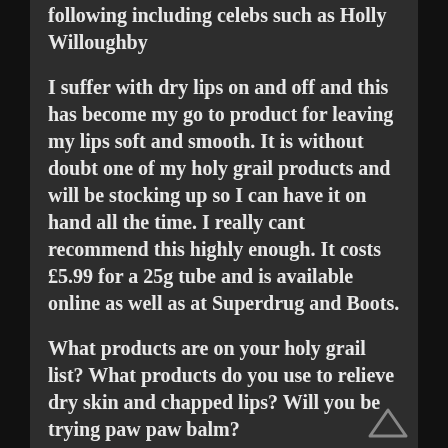following including celebs such as Holly Willoughby
I suffer with dry lips on and off and this has become my go to product for leaving my lips soft and smooth. It is without doubt one of my holy grail products and will be stocking up so I can have it on hand all the time. I really cant recommend this highly enough. It costs £5.99 for a 25g tube and is available online as well as at Superdrug and Boots.
What products are on your holy grail list? What products do you use to relieve dry skin and chapped lips? Will you be trying paw paw balm?